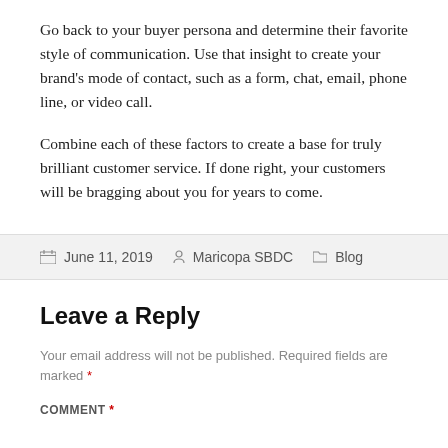Go back to your buyer persona and determine their favorite style of communication. Use that insight to create your brand's mode of contact, such as a form, chat, email, phone line, or video call.
Combine each of these factors to create a base for truly brilliant customer service. If done right, your customers will be bragging about you for years to come.
June 11, 2019   Maricopa SBDC   Blog
Leave a Reply
Your email address will not be published. Required fields are marked *
COMMENT *